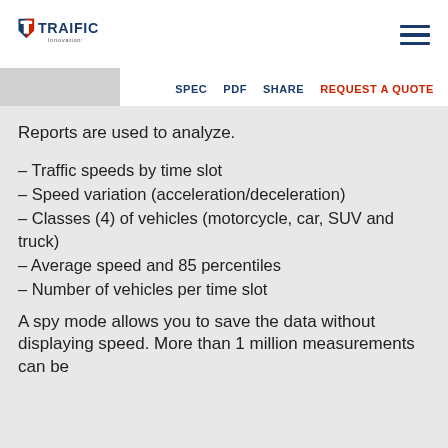TRAIFIC Innovation logo and navigation menu
SPEC  PDF  SHARE  REQUEST A QUOTE
Reports are used to analyze.
– Traffic speeds by time slot
– Speed variation (acceleration/deceleration)
– Classes (4) of vehicles (motorcycle, car, SUV and truck)
– Average speed and 85 percentiles
– Number of vehicles per time slot
A spy mode allows you to save the data without displaying speed. More than 1 million measurements can be